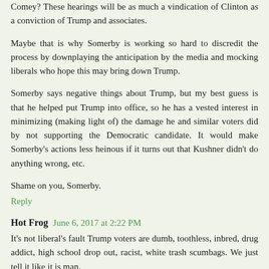Comey? These hearings will be as much a vindication of Clinton as a conviction of Trump and associates.
Maybe that is why Somerby is working so hard to discredit the process by downplaying the anticipation by the media and mocking liberals who hope this may bring down Trump.
Somerby says negative things about Trump, but my best guess is that he helped put Trump into office, so he has a vested interest in minimizing (making light of) the damage he and similar voters did by not supporting the Democratic candidate. It would make Somerby's actions less heinous if it turns out that Kushner didn't do anything wrong, etc.
Shame on you, Somerby.
Reply
Hot Frog  June 6, 2017 at 2:22 PM
It's not liberal's fault Trump voters are dumb, toothless, inbred, drug addict, high school drop out, racist, white trash scumbags. We just tell it like it is man.